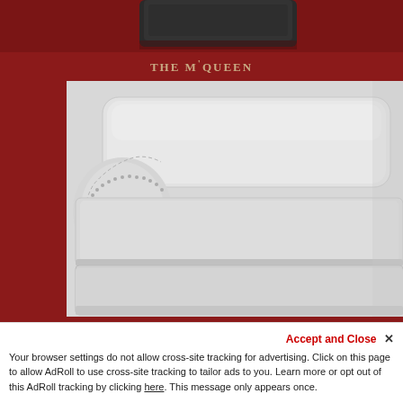[Figure (photo): Top portion showing dark fabric/cushion detail of a sofa against a dark red background]
THE M'QUEEN
[Figure (photo): Close-up photograph of a light grey upholstered sofa (The M'Queen) with rolled arms featuring nailhead trim detail, large back cushion, and seat cushion, set against a dark red background]
Accept and Close ✕
Your browser settings do not allow cross-site tracking for advertising. Click on this page to allow AdRoll to use cross-site tracking to tailor ads to you. Learn more or opt out of this AdRoll tracking by clicking here. This message only appears once.